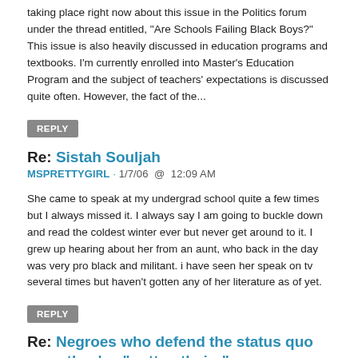taking place right now about this issue in the Politics forum under the thread entitled, "Are Schools Failing Black Boys?" This issue is also heavily discussed in education programs and textbooks. I'm currently enrolled into Master's Education Program and the subject of teachers' expectations is discussed quite often. However, the fact of the...
REPLY
Re: Sistah Souljah
MSPRETTYGIRL · 1/7/06  @  12:09 AM
She came to speak at my undergrad school quite a few times but I always missed it. I always say I am going to buckle down and read the coldest winter ever but never get around to it. I grew up hearing about her from an aunt, who back in the day was very pro black and militant. i have seen her speak on tv several times but haven't gotten any of her literature as of yet.
REPLY
Re: Negroes who defend the status quo once they've "gotten theirs"
KEVIN41 · 1/7/06  @  12:33 AM
CF, you're not that big on comprehension so what something SEEMS like